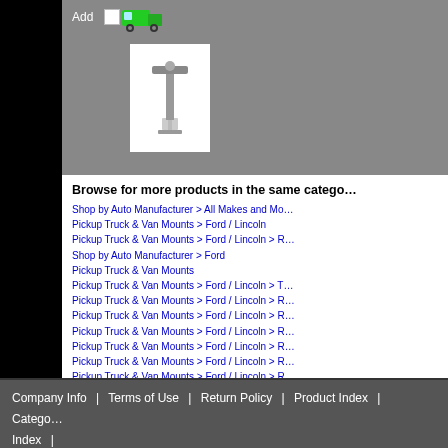[Figure (screenshot): Top bar with Add button, checkbox, green truck icon, and product thumbnail image showing a vehicle mount bracket]
Browse for more products in the same category…
Shop by Auto Manufacturer > All Makes and Mo…
Pickup Truck & Van Mounts > Ford / Lincoln
Pickup Truck & Van Mounts > Ford / Lincoln > …
Shop by Auto Manufacturer > Ford
Pickup Truck & Van Mounts
Pickup Truck & Van Mounts > Ford / Lincoln > T…
Pickup Truck & Van Mounts > Ford / Lincoln > R…
Pickup Truck & Van Mounts > Ford / Lincoln > R…
Pickup Truck & Van Mounts > Ford / Lincoln > R…
Pickup Truck & Van Mounts > Ford / Lincoln > R…
Pickup Truck & Van Mounts > Ford / Lincoln > R…
Pickup Truck & Van Mounts > Ford / Lincoln > R…
Crossover & SUV Mounts > Ford > Escape
Automobile Mounts > Ford > C-Max
Automobile Mounts > Ford > Focus
Crossover & SUV Mounts > Jeep > Compass
Crossover & SUV Mounts > Jeep > Patriot
Pickup Truck & Van Mounts > Dodge > Journey
Crossover & SUV Mounts > Ford > Expedition
Company Info  |  Terms of Use  |  Return Policy  |  Product Index  |  Category Index  |